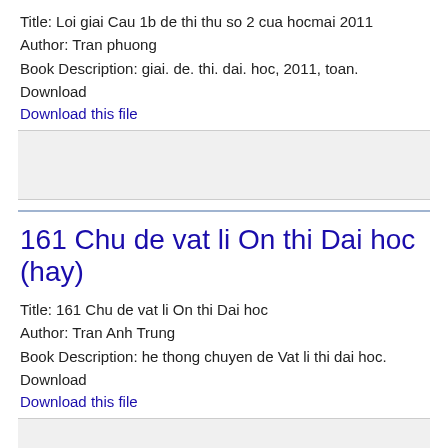Title: Loi giai Cau 1b de thi thu so 2 cua hocmai 2011
Author: Tran phuong
Book Description: giai. de. thi. dai. hoc, 2011, toan.
Download
Download this file
[Figure (other): Gray placeholder box]
161 Chu de vat li On thi Dai hoc (hay)
Title: 161 Chu de vat li On thi Dai hoc
Author: Tran Anh Trung
Book Description: he thong chuyen de Vat li thi dai hoc.
Download
Download this file
[Figure (other): Gray placeholder box]